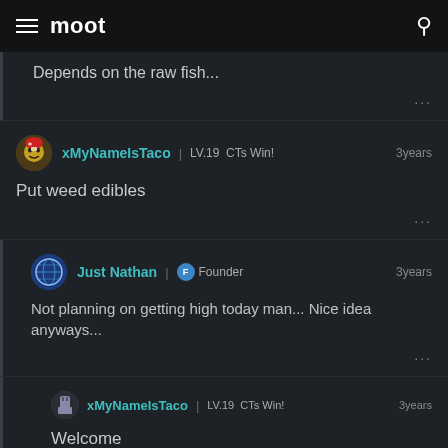moot
Depends on the raw fish...
xMyNameIsTaco | LV.19 CTs Win! 3years
Put weed edibles
Just Nathan | Founder 3years
Not planning on getting high today man... Nice idea anyways...
xMyNameIsTaco | LV.19 CTs Win! 3years
Welcome